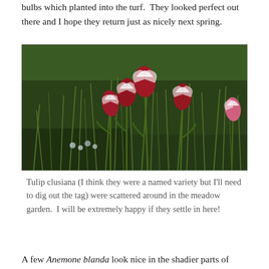bulbs which planted into the turf.  They looked perfect out there and I hope they return just as nicely next spring.
[Figure (photo): Photograph of red and white Tulip clusiana flowers growing in a grassy meadow garden setting, with small white flowers visible in the background.]
Tulip clusiana (I think they were a named variety but I'll need to dig out the tag) were scattered around in the meadow garden.  I will be extremely happy if they settle in here!
A few Anemone blanda look nice in the shadier parts of